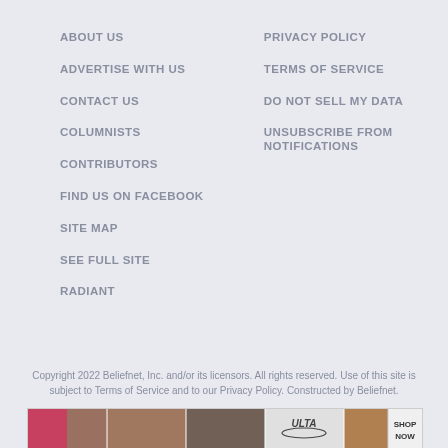ABOUT US
PRIVACY POLICY
ADVERTISE WITH US
TERMS OF SERVICE
CONTACT US
DO NOT SELL MY DATA
COLUMNISTS
UNSUBSCRIBE FROM NOTIFICATIONS
CONTRIBUTORS
FIND US ON FACEBOOK
SITE MAP
SEE FULL SITE
RADIANT
Copyright 2022 Beliefnet, Inc. and/or its licensors. All rights reserved. Use of this site is subject to Terms of Service and to our Privacy Policy. Constructed by Beliefnet.
[Figure (photo): Advertisement banner showing makeup/beauty photos with ULTA logo and SHOP NOW call to action]